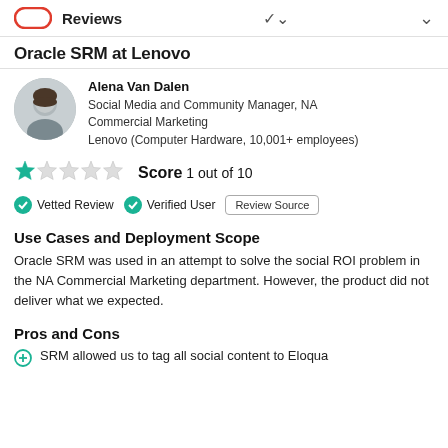Reviews
Oracle SRM at Lenovo
Alena Van Dalen
Social Media and Community Manager, NA Commercial Marketing
Lenovo (Computer Hardware, 10,001+ employees)
Score 1 out of 10
Vetted Review   Verified User   Review Source
Use Cases and Deployment Scope
Oracle SRM was used in an attempt to solve the social ROI problem in the NA Commercial Marketing department. However, the product did not deliver what we expected.
Pros and Cons
SRM allowed us to tag all social content to Eloqua